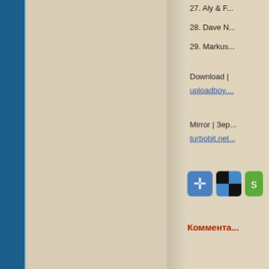27. Aly & F...
28. Dave N...
29. Markus...
Download | uploadboy....
Mirror | Зер... turbobit.net...
[Figure (screenshot): Social sharing buttons including a blue plus/cross icon and a delicious-style icon]
Коммента...
[Figure (illustration): Musical treble clef icon in blue/gold with 'Armin' text on yellow banner]
[Figure (photo): Dark reddish image, partially visible at bottom right]